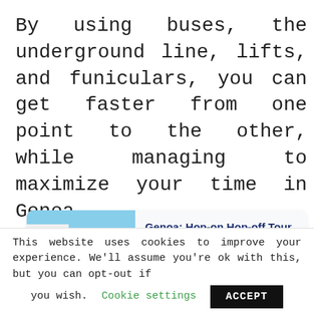By using buses, the underground line, lifts, and funiculars, you can get faster from one point to the other, while managing to maximize your time in Genoa.
[Figure (other): Card with photo of a red double-decker hop-on hop-off bus and text: Genoa: Hop-on Hop-off Tour 24 or 48-Hour Ticket, 1 hour duration, 3.5 star rating]
This website uses cookies to improve your experience. We'll assume you're ok with this, but you can opt-out if you wish. Cookie settings ACCEPT